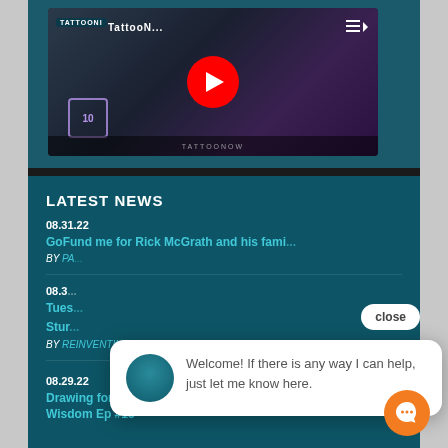[Figure (screenshot): YouTube video thumbnail showing TattooNow channel with a tattooed person, red YouTube play button in center, playlist icon top right, dark gaming/fantasy style background]
LATEST NEWS
08.31.22
GoFund me for Rick McGrath and his fami...
BY PA...
08.3...
Tues... / Stur... BY REINVENTING THE TATTOO
08.29.22
Drawing for Tattooers with James Wisdom Ep #15
Welcome! If there is any way I can help, just let me know here.
close